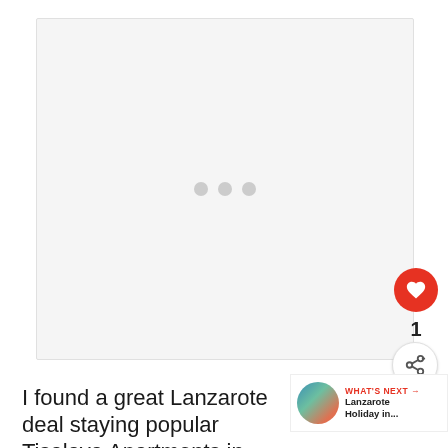[Figure (photo): Large image placeholder area with light gray background and three gray loading dots centered in the middle]
[Figure (infographic): Red circular heart/like button, count label '1', white circular share button with share icon, and a 'WHAT'S NEXT' strip with a circular thumbnail and text 'Lanzarote Holiday in...']
I found a great Lanzarote deal staying popular Tisalaya Apartments in Puerto del